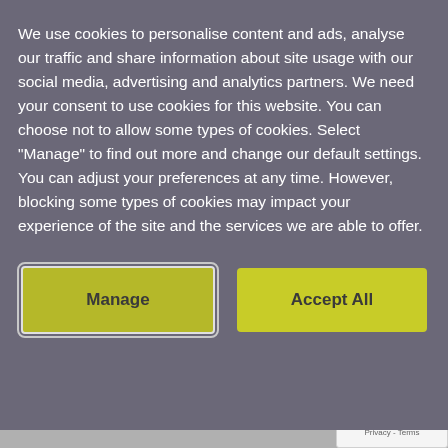We use cookies to personalise content and ads, analyse our traffic and share information about site usage with our social media, advertising and analytics partners. We need your consent to use cookies for this website. You can choose not to allow some types of cookies. Select "Manage" to find out more and change our default settings. You can adjust your preferences at any time. However, blocking some types of cookies may impact your experience of the site and the services we are able to offer.
Manage
Accept All
To speed up native tree cover, we're removing some of the conifer forests altogether and replanting them with native woodlands (see photo, left). We call this process 'R&R' - Remove & Replant.
[Figure (logo): reCAPTCHA badge with circular arrow icon and Privacy - Terms text]